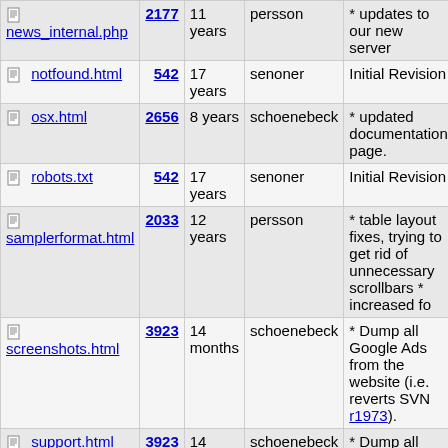| Name | Rev | Age | Author | Last log entry |
| --- | --- | --- | --- | --- |
| news_internal.php | 2177 | 11 years | persson | * updates to our new server |
| notfound.html | 542 | 17 years | senoner | Initial Revision |
| osx.html | 2656 | 8 years | schoenebeck | * updated documentation page. |
| robots.txt | 542 | 17 years | senoner | Initial Revision |
| samplerformat.html | 2033 | 12 years | persson | * table layout fixes, trying to get rid of unnecessary scrollbars * increased fo |
| screenshots.html | 3923 | 14 months | schoenebeck | * Dump all Google Ads from the website (i.e. reverts SVN r1973). |
| support.html | 3923 | 14 months | schoenebeck | * Dump all Google Ads |